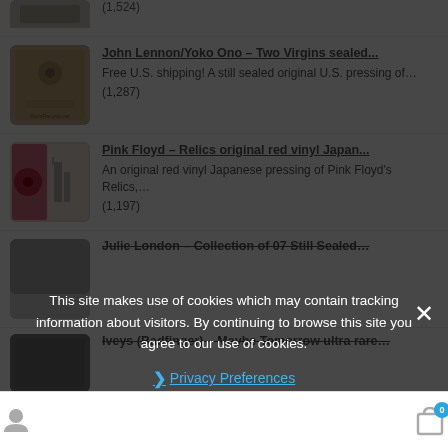(1,524)
John Lennon/Yoko Ono – Two Virgins sealed... Free U.S. shipping! A still sealed original U.S. pressing of… (1,287)
Pink Floyd – Relics original red vinyl Japan... An original red vinyl Japanese pressing of Pink Floyd's Relics,… (1,197)
Julie London – Collection of 07 Still Sealed…
Iveys (Badfinger) – Maybe Tomorrow ultra rare…
This site makes use of cookies which may contain tracking information about visitors. By continuing to browse this site you agree to our use of cookies.
Privacy Preferences
I Agree